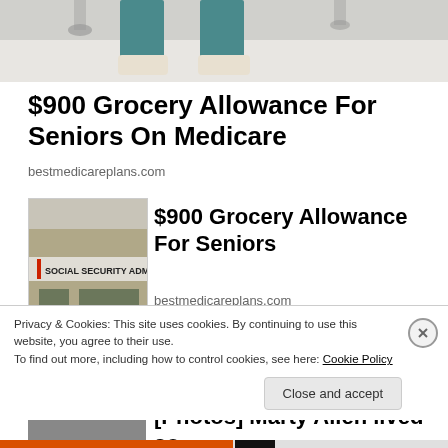[Figure (photo): Partial photo showing lower legs and feet of a person in medical/hospital setting, wearing teal scrubs and white shoes on a light floor]
$900 Grocery Allowance For Seniors On Medicare
bestmedicareplans.com
[Figure (photo): Photo of Social Security Administration building entrance with sign reading 'SOCIAL SECURITY ADMI...' and metal railings]
$900 Grocery Allowance For Seniors
bestmedicareplans.com
[Figure (photo): Partial photo, partially cut off at bottom]
[Photos] Marty Allen lived so
Privacy & Cookies: This site uses cookies. By continuing to use this website, you agree to their use.
To find out more, including how to control cookies, see here: Cookie Policy
Close and accept